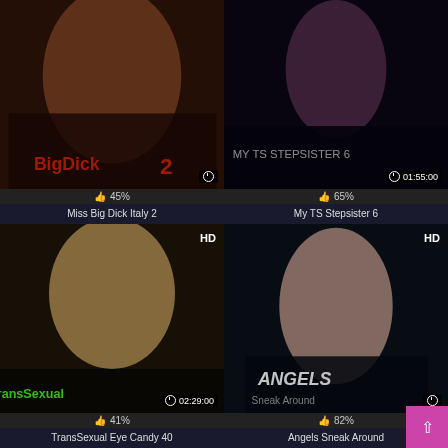[Figure (photo): Thumbnail image for adult video 'Miss Big Dick Italy 2' with clock icon overlay, no duration shown]
45%
Miss Big Dick Italy 2
[Figure (photo): Thumbnail image for adult video 'My TS Stepsister 6' with duration 01:55:00]
65%
My TS Stepsister 6
[Figure (photo): Thumbnail image for adult video 'TransSexual Eye Candy 40' marked HD with duration 02:29:00]
41%
TransSexual Eye Candy 40
[Figure (photo): Thumbnail image for adult video 'Angels Sneak Around' marked HD with clock icon overlay]
82%
Angels Sneak Around